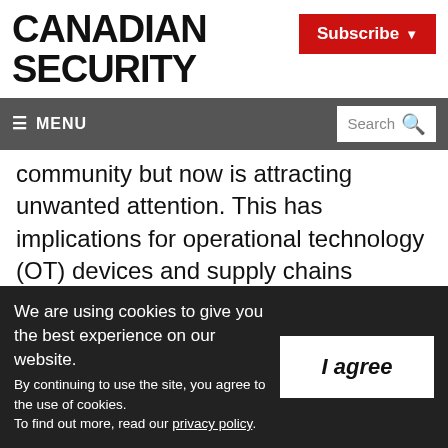CANADIAN SECURITY
Subscribe
≡ MENU  Search
community but now is attracting unwanted attention. This has implications for operational technology (OT) devices and supply chains running Linux platforms.
The threats could even move to space, as
We are using cookies to give you the best experience on our website. By continuing to use the site, you agree to the use of cookies. To find out more, read our privacy policy.
I agree